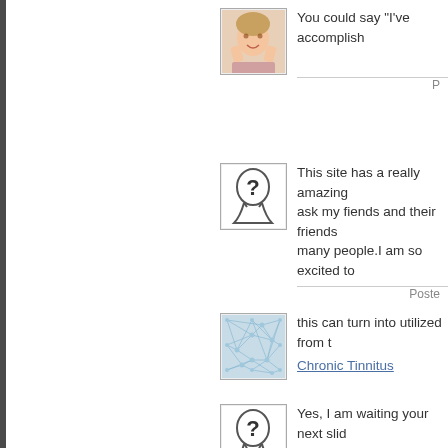[Figure (photo): Woman holding face with surprised/happy expression]
You could say "I've accomplish
Posted
[Figure (illustration): Silhouette of person head with question mark inside]
This site has a really amazing ask my fiends and their friends many people.I am so excited to
Posted
[Figure (illustration): Blue neural network pattern on light blue background]
this can turn into utilized from t
Chronic Tinnitus
[Figure (illustration): Silhouette of person head with question mark inside]
Yes, I am waiting your next slid
Bed Bath and Beyond Coupo
Posted